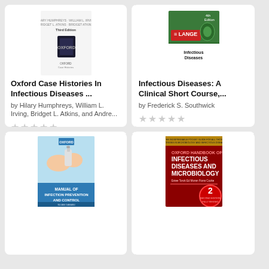[Figure (illustration): Book cover: Oxford Case Histories In Infectious Diseases, Third Edition, Oxford University Press]
Oxford Case Histories In Infectious Diseases ...
by Hilary Humphreys, William L. Irving, Bridget L. Atkins, and Andre...
★★★★★ (no rating) $61.30
[Figure (illustration): Book cover: Infectious Diseases: A Clinical Short Course, 4th Edition, LANGE series]
Infectious Diseases: A Clinical Short Course,...
by Frederick S. Southwick
★★★★★ (no rating) $67.40
[Figure (photo): Book cover: Manual of Infection Prevention and Control, Oxford, showing hands with soap dispenser]
[Figure (illustration): Book cover: Oxford Handbook of Infectious Diseases and Microbiology, 2nd Edition, red cover]